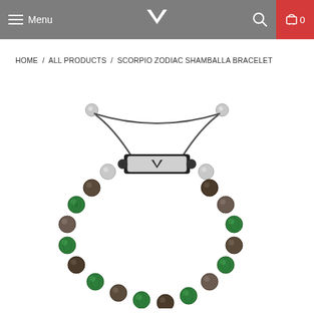Menu | [Logo] | [Search] | Cart 0
HOME / ALL PRODUCTS / SCORPIO ZODIAC SHAMBALLA BRACELET
[Figure (photo): Scorpio Zodiac Shamballa Bracelet product photo showing a beaded bracelet with alternating green malachite, smoky quartz/brown beads, and silver steel beads, with an adjustable black cord closure and a rectangular silver clasp engraved with the brand logo (V chevron symbol).]